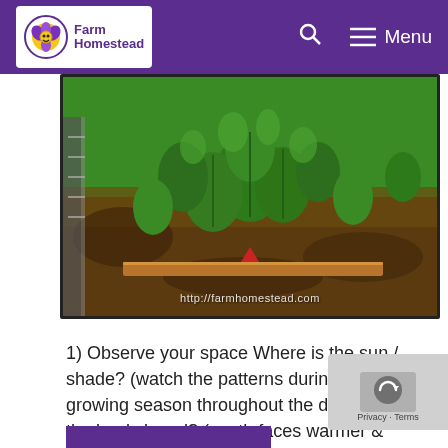Farm Homestead — Menu
[Figure (photo): Garden photo showing green leafy plants (likely sweet potato or similar) growing in dark soil, with a wooden border visible. Watermark reads: http://farmhomestead.com]
1) Observe your space Where is the sun / shade? (watch the patterns during the growing season throughout the day) How is the land sloped? (south faces warmer & sunnier than north – use to your advantage!) Is it windy? (plant some trees or shrubs to act as a windbreak!) 2) Think about what you …